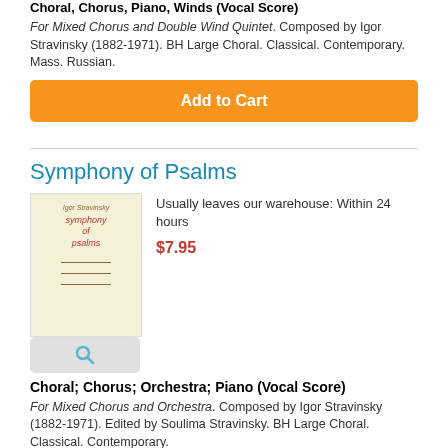Choral, Chorus, Piano, Winds (Vocal Score)
For Mixed Chorus and Double Wind Quintet. Composed by Igor Stravinsky (1882-1971). BH Large Choral. Classical. Contemporary. Mass. Russian.
Add to Cart
Symphony of Psalms
[Figure (illustration): Book cover of Symphony of Psalms, cream/beige colored with red italic title text and decorative brown lines]
Usually leaves our warehouse: Within 24 hours
$7.95
Choral; Chorus; Orchestra; Piano (Vocal Score)
For Mixed Chorus and Orchestra. Composed by Igor Stravinsky (1882-1971). Edited by Soulima Stravinsky. BH Large Choral. Classical. Contemporary.
Add to Cart